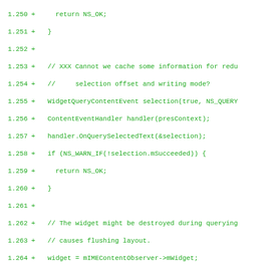[Figure (screenshot): Code diff showing lines 1.250 to 1.281 of a C++ source file, displayed in green monospace font on white background. The code shows additions (+) to a widget/IME notification handler.]